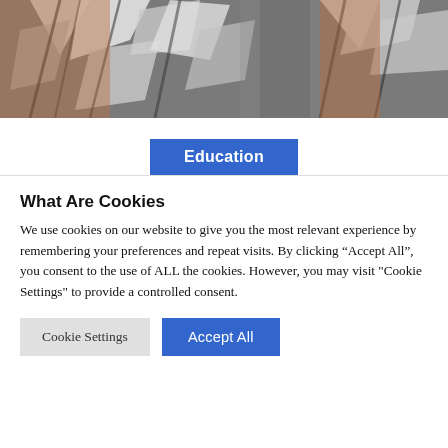[Figure (photo): Photo of people wearing black and white patterned shirts, cropped to show torsos and arms]
Education
What Are Cookies
We use cookies on our website to give you the most relevant experience by remembering your preferences and repeat visits. By clicking “Accept All”, you consent to the use of ALL the cookies. However, you may visit "Cookie Settings" to provide a controlled consent.
Cookie Settings | Accept All